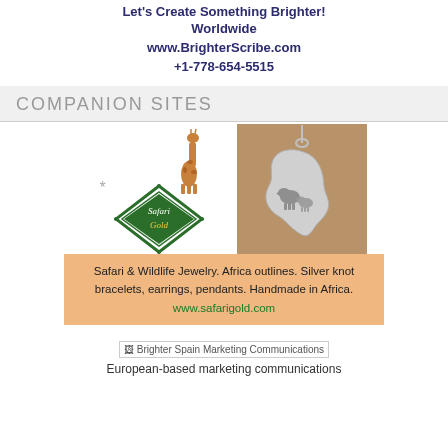Let's Create Something Brighter!
Worldwide
www.BrighterScribe.com
+1-778-654-5515
COMPANION SITES
[Figure (illustration): Safari Gold advertisement showing a giraffe illustration, a Safari Gold logo diamond badge, and a brown jewelry image of Africa continent pendant with elephants]
Safari & Wildlife Jewelry. Africa outlines. Silver knot bracelets, earrings, pendants. Handmade in Africa. www.safarigold.com
[Figure (logo): Brighter Spain Marketing Communications logo image]
European-based marketing communications